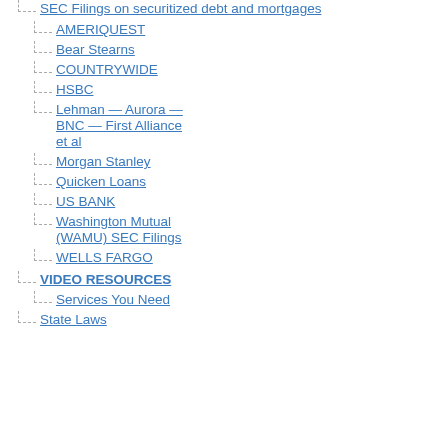SEC Filings on securitized debt and mortgages
AMERIQUEST
Bear Stearns
COUNTRYWIDE
HSBC
Lehman — Aurora — BNC — First Alliance et al
Morgan Stanley
Quicken Loans
US BANK
Washington Mutual (WAMU) SEC Filings
WELLS FARGO
VIDEO RESOURCES
Services You Need
State Laws
[Figure (other): Social sharing buttons: Facebook, Twitter, Email, WordPress, More]
Filed under: bubble, CDO, CORRUPTION, curr... Investor, Mortgage, securities fraud | Tagged: c... principal reduction, servicer |
« Principal Reduction or Principal Eliminatio... Strategic Default Strategy »
18 Responses
Robin_Hood, on February 18, 2010 at 2:35 am
Has anyone heard of the omnibus motion to... Its kind of pricey @600 buckaroos…
Is there a case law, opinion, dismissal, anyt...
Like
usedkarguy, on January 25, 2010 at 8:21 am s...
Anonymous, stop apologizing. We'll read wi...